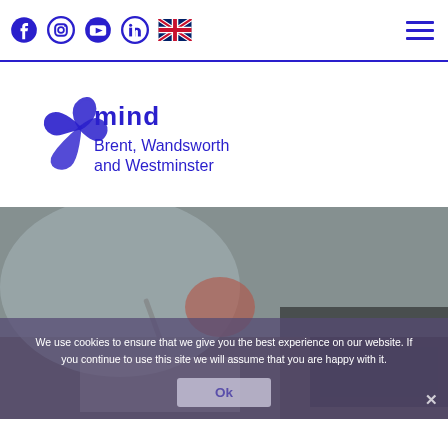Social icons: Facebook, Instagram, YouTube, LinkedIn, UK flag; Hamburger menu
[Figure (logo): Mind Brent, Wandsworth and Westminster logo in dark blue]
[Figure (photo): Person writing at a desk with a laptop and apple, blurred background]
We use cookies to ensure that we give you the best experience on our website. If you continue to use this site we will assume that you are happy with it.
Ok